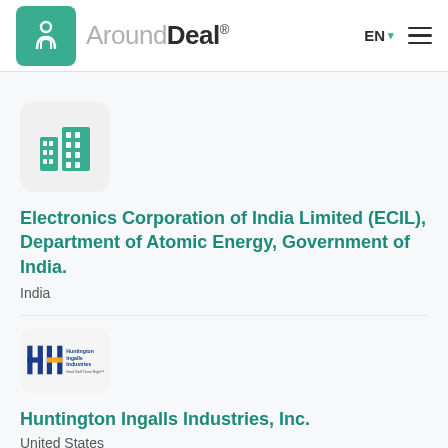AroundDeal® EN
[Figure (logo): Generic building icon placeholder for Electronics Corporation of India Limited (ECIL)]
Electronics Corporation of India Limited (ECIL), Department of Atomic Energy, Government of India.
India
[Figure (logo): Huntington Ingalls Industries logo with blue and gold 'HH' mark and text 'Hard Stuff Done Right']
Huntington Ingalls Industries, Inc.
United States